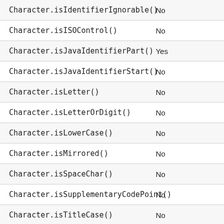| Method | Result |
| --- | --- |
| Character.isIdentifierIgnorable() | No |
| Character.isISOControl() | No |
| Character.isJavaIdentifierPart() | Yes |
| Character.isJavaIdentifierStart() | No |
| Character.isLetter() | No |
| Character.isLetterOrDigit() | No |
| Character.isLowerCase() | No |
| Character.isMirrored() | No |
| Character.isSpaceChar() | No |
| Character.isSupplementaryCodePoint() | No |
| Character.isTitleCase() | No |
| Character.isUnicodeIdentifierPart() | Yes |
| Character.isUnicodeIdentifierStart() | No |